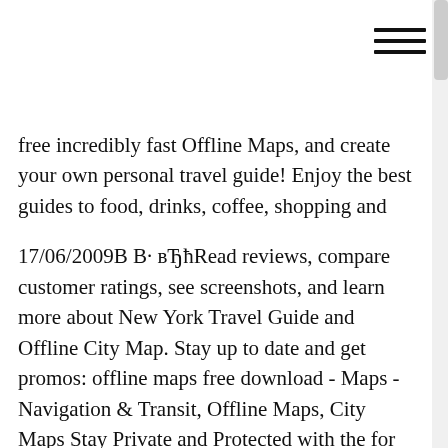[Figure (other): Hamburger menu icon (three horizontal lines) in top right corner]
free incredibly fast Offline Maps, and create your own personal travel guide! Enjoy the best guides to food, drinks, coffee, shopping and
17/06/2009В В· вЂћRead reviews, compare customer ratings, see screenshots, and learn more about New York Travel Guide and Offline City Map. Stay up to date and get promos: offline maps free download - Maps - Navigation & Transit, Offline Maps, City Maps Stay Private and Protected with the for Watching Video View All Guides
Stay Private and Protected with the Best Firefox Security Extensions The Best Video Software for